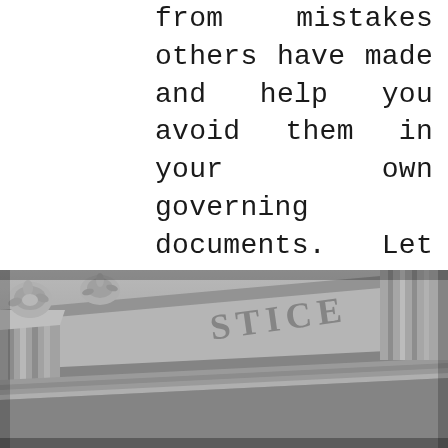from mistakes others have made and help you avoid them in your own governing documents. Let us show you how by contacting our office today!
[Figure (photo): Black and white photograph of a stone courthouse building facade with ornate carved decorations and the word 'JUSTICE' engraved on the cornice, shot from a low angle.]